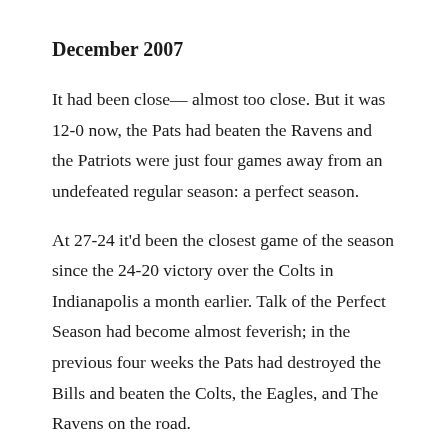December 2007
It had been close— almost too close. But it was 12-0 now, the Pats had beaten the Ravens and the Patriots were just four games away from an undefeated regular season: a perfect season.
At 27-24 it'd been the closest game of the season since the 24-20 victory over the Colts in Indianapolis a month earlier. Talk of the Perfect Season had become almost feverish; in the previous four weeks the Pats had destroyed the Bills and beaten the Colts, the Eagles, and The Ravens on the road.